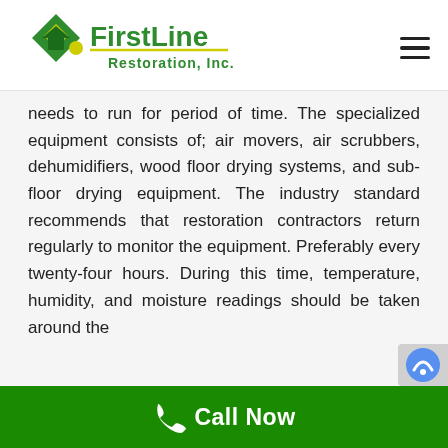[Figure (logo): FirstLine Restoration, Inc. logo with green and yellow diamond/house shapes and green text]
needs to run for period of time. The specialized equipment consists of; air movers, air scrubbers, dehumidifiers, wood floor drying systems, and sub-floor drying equipment. The industry standard recommends that restoration contractors return regularly to monitor the equipment. Preferably every twenty-four hours. During this time, temperature, humidity, and moisture readings should be taken around the
Call Now